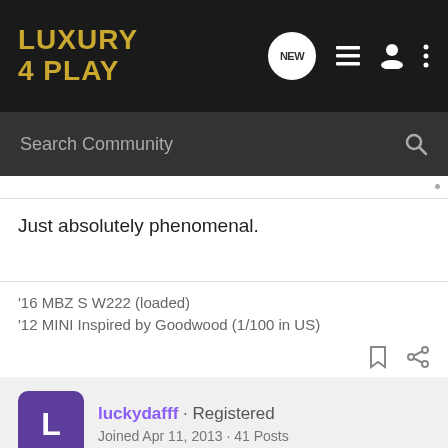[Figure (logo): Luxury 4 Play forum logo in gold/yellow on dark background]
Search Community
Just absolutely phenomenal.
'16 MBZ S W222 (loaded)
'12 MINI Inspired by Goodwood (1/100 in US)
luckydafff · Registered
Joined Apr 11, 2013 · 41 Posts
#8 · Dec 2, 2013